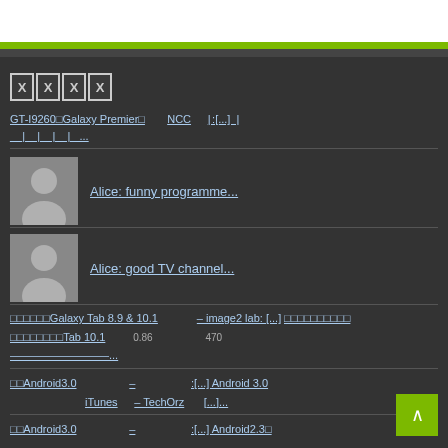XXXX
GT-I9260 Galaxy Premier  NCC  |:[...]  |
__|__|__|...
Alice: funny programme...
Alice: good TV channel...
Galaxy Tab 8.9 & 10.1  – image2 lab: [...]
Tab 10.1   0.86   470
...
Android3.0  –  :[...] Android 3.0
iTunes  – TechOrz  [...]...
Android3.0  –  :[...] Android2.3